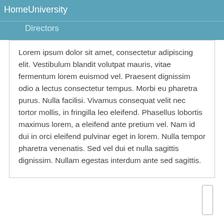HomeUniversity
Directors
Lorem ipsum dolor sit amet, consectetur adipiscing elit. Vestibulum blandit volutpat mauris, vitae fermentum lorem euismod vel. Praesent dignissim odio a lectus consectetur tempus. Morbi eu pharetra purus. Nulla facilisi. Vivamus consequat velit nec tortor mollis, in fringilla leo eleifend. Phasellus lobortis maximus lorem, a eleifend ante pretium vel. Nam id dui in orci eleifend pulvinar eget in lorem. Nulla tempor pharetra venenatis. Sed vel dui et nulla sagittis dignissim. Nullam egestas interdum ante sed sagittis.